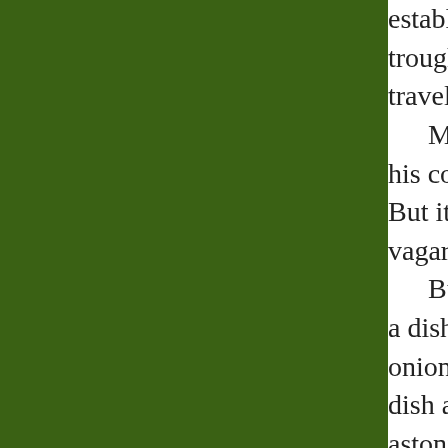establishment. trough for trav travelers and l Mondadori his cousin's hu But it seemed vagaries of a l Business go a dish Cangran onion salad. T dish as it had b astonishment o inn, sat himsel From that m introduced the so fascinated t